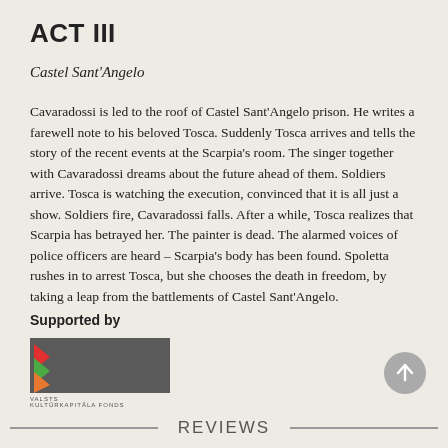ACT III
Castel Sant'Angelo
Cavaradossi is led to the roof of Castel Sant'Angelo prison. He writes a farewell note to his beloved Tosca. Suddenly Tosca arrives and tells the story of the recent events at the Scarpia's room. The singer together with Cavaradossi dreams about the future ahead of them. Soldiers arrive. Tosca is watching the execution, convinced that it is all just a show. Soldiers fire, Cavaradossi falls. After a while, Tosca realizes that Scarpia has betrayed her. The painter is dead. The alarmed voices of police officers are heard – Scarpia's body has been found. Spoletta rushes in to arrest Tosca, but she chooses the death in freedom, by taking a leap from the battlements of Castel Sant'Angelo.
Supported by
[Figure (logo): Valsts Kultūrkapitāla Fonds logo — dark grey rectangle with colored chevron arrows on the left side and text below]
[Figure (other): Circular scroll-to-top button with upward arrow]
REVIEWS